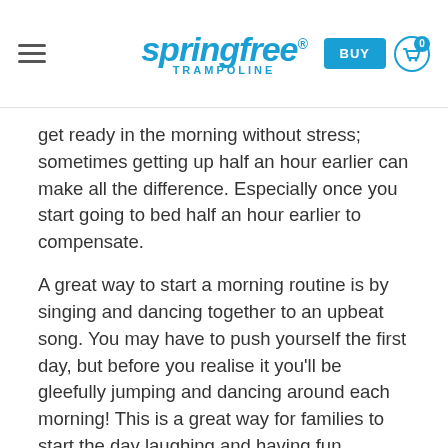springfree TRAMPOLINE | BUY | Cart 0
get ready in the morning without stress; sometimes getting up half an hour earlier can make all the difference. Especially once you start going to bed half an hour earlier to compensate.
A great way to start a morning routine is by singing and dancing together to an upbeat song. You may have to push yourself the first day, but before you realise it you'll be gleefully jumping and dancing around each morning! This is a great way for families to start the day laughing and having fun together. Setting rules like dancing freely to the first song but getting ready to the second will help stop the music from being distracting. Songs can also be used as a timer – e.g. Get school shoes and socks on by the end of song number 5!
Literally Jump For Joy
[Figure (photo): Broken image placeholder with alt text 'jump for joy']